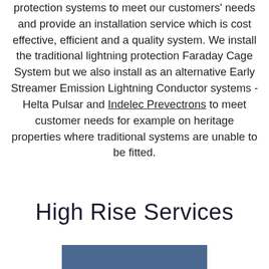protection systems to meet our customers' needs and provide an installation service which is cost effective, efficient and a quality system. We install the traditional lightning protection Faraday Cage System but we also install as an alternative Early Streamer Emission Lightning Conductor systems - Helta Pulsar and Indelec Prevectrons to meet customer needs for example on heritage properties where traditional systems are unable to be fitted.
High Rise Services
[Figure (photo): Partial view of a blue rectangular image/photo at the bottom of the page]